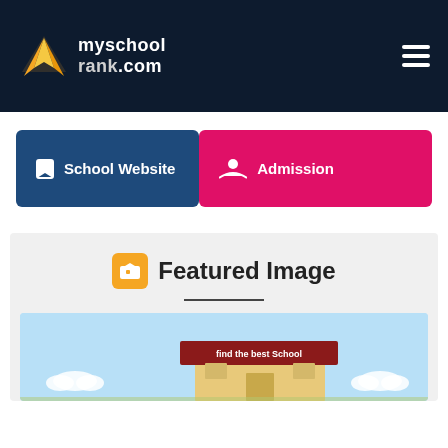myschoolrank.com
School Website
Admission
Featured Image
[Figure (illustration): School building illustration with 'find the best School' banner on roof, light blue sky background with clouds]